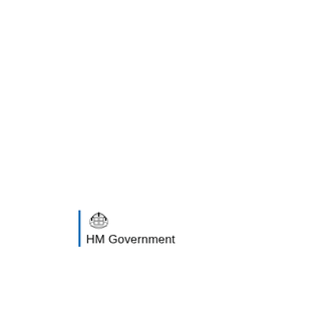[Figure (logo): HM Government logo with royal crest and blue vertical bar on the left, text 'HM Government' below the crest]